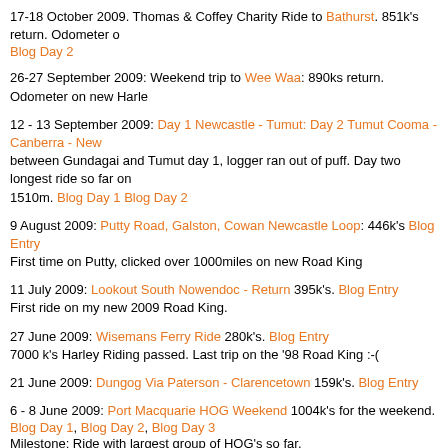17-18 October 2009. Thomas & Coffey Charity Ride to Bathurst. 851k's return. Odometer … Blog Day 2
26-27 September 2009: Weekend trip to Wee Waa: 890ks return. Odometer on new Harley…
12 - 13 September 2009: Day 1 Newcastle - Tumut: Day 2 Tumut Cooma - Canberra - New… between Gundagai and Tumut day 1, logger ran out of puff. Day two longest ride so far on… 1510m. Blog Day 1 Blog Day 2
9 August 2009: Putty Road, Galston, Cowan Newcastle Loop: 446k's Blog Entry First time on Putty, clicked over 1000miles on new Road King
11 July 2009: Lookout South Nowendoc - Return 395k's. Blog Entry First ride on my new 2009 Road King.
27 June 2009: Wisemans Ferry Ride 280k's. Blog Entry 7000 k's Harley Riding passed. Last trip on the '98 Road King :-(
21 June 2009: Dungog Via Paterson - Clarencetown 159k's. Blog Entry
6 - 8 June 2009: Port Macquarie HOG Weekend 1004k's for the weekend. Blog Day 1, Blog Day 2, Blog Day 3 Milestone: Ride with largest group of HOG's so far.
16 May 2009: Ironbutt Map: Beresfield - Kandos first leg 274k's. Blog Entry Milestone: Longest ride one day 570km: Longest non stop ride Rylestone to home: 265km.
9 May 2009: Thunderbolts Way Ride Map 430k's each way. Blog Entry Milestone: First weekend away. Longest Ride per day to then.